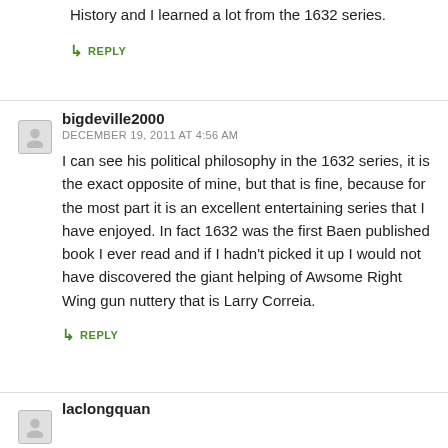History and I learned a lot from the 1632 series.
↳ REPLY
bigdeville2000
DECEMBER 19, 2011 AT 4:56 AM
I can see his political philosophy in the 1632 series, it is the exact opposite of mine, but that is fine, because for the most part it is an excellent entertaining series that I have enjoyed. In fact 1632 was the first Baen published book I ever read and if I hadn't picked it up I would not have discovered the giant helping of Awsome Right Wing gun nuttery that is Larry Correia.
↳ REPLY
laclongquan